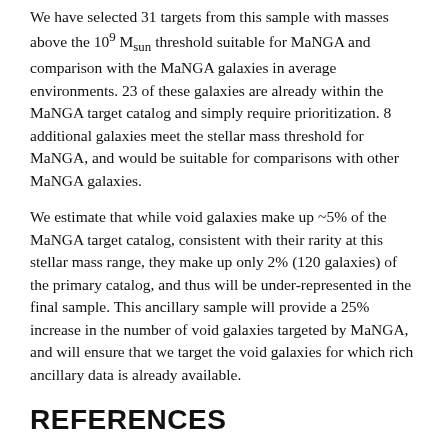We have selected 31 targets from this sample with masses above the 10⁹ M_sun threshold suitable for MaNGA and comparison with the MaNGA galaxies in average environments. 23 of these galaxies are already within the MaNGA target catalog and simply require prioritization. 8 additional galaxies meet the stellar mass threshold for MaNGA, and would be suitable for comparisons with other MaNGA galaxies.
We estimate that while void galaxies make up ~5% of the MaNGA target catalog, consistent with their rarity at this stellar mass range, they make up only 2% (120 galaxies) of the primary catalog, and thus will be under-represented in the final sample. This ancillary sample will provide a 25% increase in the number of void galaxies targeted by MaNGA, and will ensure that we target the void galaxies for which rich ancillary data is already available.
REFERENCES
Kreckel, K., et al. 2011, AJ, 141, 4